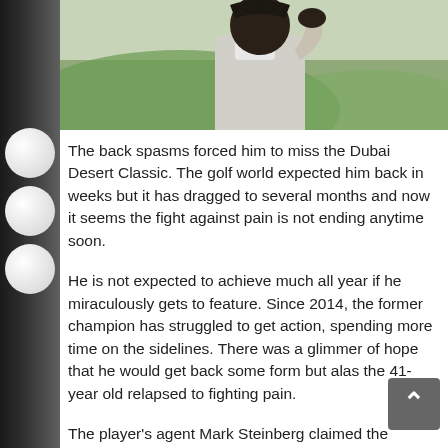[Figure (photo): Side profile photo of a golfer in a grey sweater and white collar, hand raised near face, against a green outdoor background]
The back spasms forced him to miss the Dubai Desert Classic. The golf world expected him back in weeks but it has dragged to several months and now it seems the fight against pain is not ending anytime soon.
He is not expected to achieve much all year if he miraculously gets to feature. Since 2014, the former champion has struggled to get action, spending more time on the sidelines. There was a glimmer of hope that he would get back some form but alas the 41-year old relapsed to fighting pain.
The player's agent Mark Steinberg claimed the surgery is “to eliminate the bad bays.” The player's website had a quote from him which reads: “The surgery went well, and I’m optimistic this will relieve my back spasms and pain. When